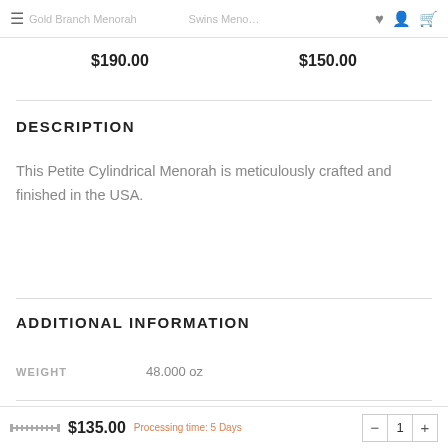Gold Branch Menorah | Swins Menorah
$190.00   $150.00
DESCRIPTION
This Petite Cylindrical Menorah is meticulously crafted and finished in the USA.
ADDITIONAL INFORMATION
|  |  |
| --- | --- |
| WEIGHT | 48.000 oz |
| DIMENSIONS |  |
$135.00  Processing time: 5 Days  - 1 +